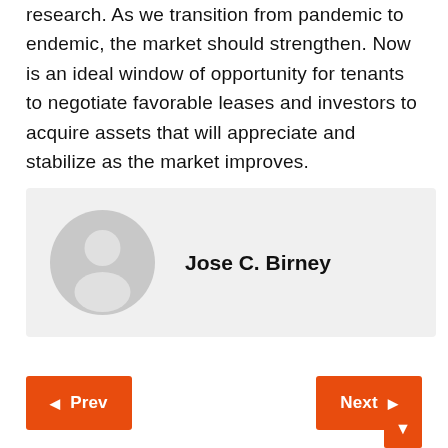research. As we transition from pandemic to endemic, the market should strengthen. Now is an ideal window of opportunity for tenants to negotiate favorable leases and investors to acquire assets that will appreciate and stabilize as the market improves.
[Figure (other): Author profile card with grey avatar placeholder icon and bold name 'Jose C. Birney' on a light grey background]
Jose C. Birney
Prev | Next navigation buttons in orange